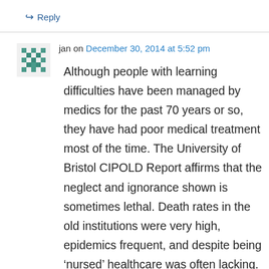↳ Reply
jan on December 30, 2014 at 5:52 pm
Although people with learning difficulties have been managed by medics for the past 70 years or so, they have had poor medical treatment most of the time. The University of Bristol CIPOLD Report affirms that the neglect and ignorance shown is sometimes lethal. Death rates in the old institutions were very high, epidemics frequent, and despite being 'nursed' healthcare was often lacking. Why? The best people don't go near learning disabilities, unless they are motivated by things other than career ambition. They do surgery or cardiology, they